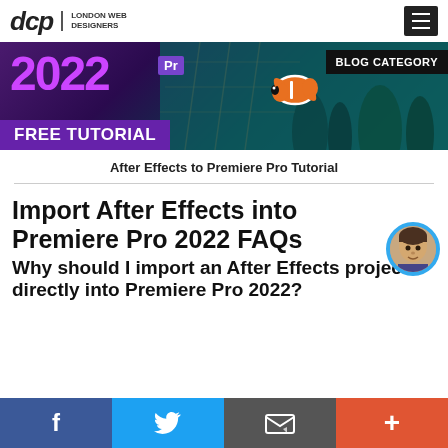dcp LONDON WEB DESIGNERS
[Figure (screenshot): Banner image for 2022 Premiere Pro free tutorial blog post, showing '2022' in purple, 'Pr' logo badge, underwater scene with clownfish, 'BLOG CATEGORY' label, and 'FREE TUTORIAL' text]
After Effects to Premiere Pro Tutorial
Import After Effects into Premiere Pro 2022 FAQs
Why should I import an After Effects project directly into Premiere Pro 2022?
f  Twitter  Email  +